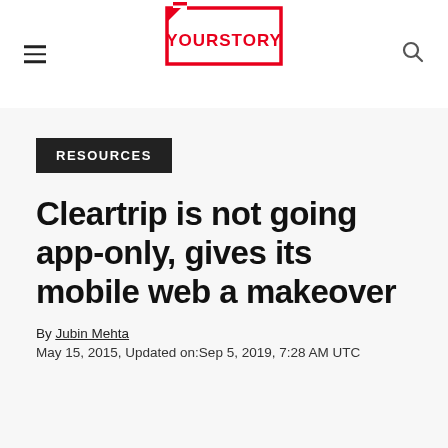YOURSTORY
RESOURCES
Cleartrip is not going app-only, gives its mobile web a makeover
By Jubin Mehta
May 15, 2015, Updated on:Sep 5, 2019, 7:28 AM UTC